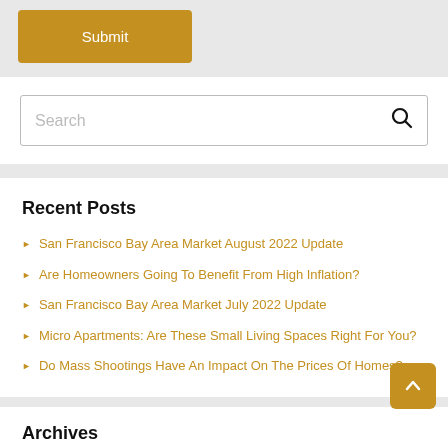Submit
Search
Recent Posts
San Francisco Bay Area Market August 2022 Update
Are Homeowners Going To Benefit From High Inflation?
San Francisco Bay Area Market July 2022 Update
Micro Apartments: Are These Small Living Spaces Right For You?
Do Mass Shootings Have An Impact On The Prices Of Homes?
Archives